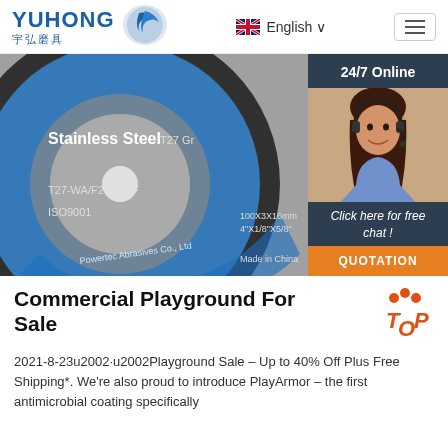YUHONG 宇弘磨具 | English
[Figure (photo): Blue and silver grinding disc labeled Stainless Steel, T27-WA/F24Q8BF, ISO9001, 100X3X16mm 4"X1/8"X5/8", Made in China, Powertec Abrasives Co., Ltd, T27 Gr; with sidebar showing 24/7 Online, agent photo, Click here for free chat!, QUOTATION button]
Commercial Playground For Sale
2021-8-23u2002·u2002Playground Sale – Up to 40% Off Plus Free Shipping*. We're also proud to introduce PlayArmor – the first antimicrobial coating specifically introduced in the competitive industry that protect...